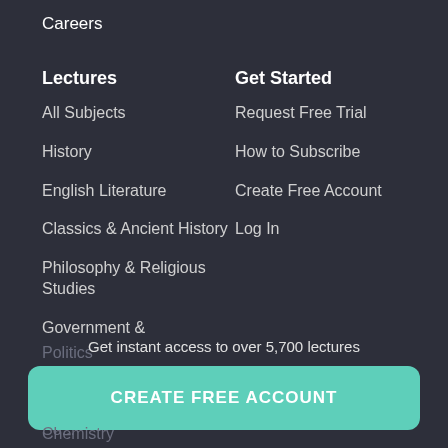Careers
Lectures
All Subjects
History
English Literature
Classics & Ancient History
Philosophy & Religious Studies
Government & Politics
Psychology
So...
Ph...
Chemistry
Get Started
Request Free Trial
How to Subscribe
Create Free Account
Log In
Get instant access to over 5,700 lectures
CREATE FREE ACCOUNT